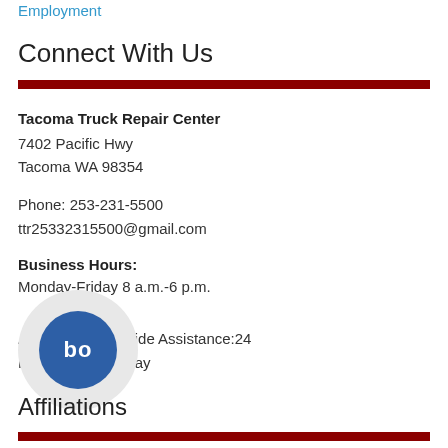Employment
Connect With Us
Tacoma Truck Repair Center
7402 Pacific Hwy
Tacoma WA 98354
Phone: 253-231-5500
ttr25332315500@gmail.com
Business Hours:
Monday-Friday 8 a.m.-6 p.m.
After Hours Roadside Assistance:24
Hours Saturday-Sunday
Affiliations